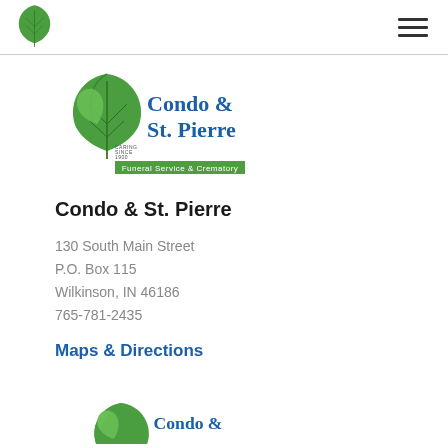[Figure (logo): Condo & St. Pierre Funeral Service & Crematory logo with green maple leaf and blue text]
Condo & St. Pierre
130 South Main Street
P.O. Box 115
Wilkinson, IN 46186
765-781-2435
Maps & Directions
[Figure (logo): Partial Condo & St. Pierre logo visible at bottom of page]